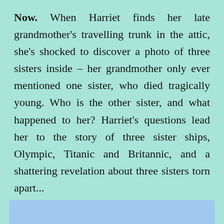Now. When Harriet finds her late grandmother's travelling trunk in the attic, she's shocked to discover a photo of three sisters inside – her grandmother only ever mentioned one sister, who died tragically young. Who is the other sister, and what happened to her? Harriet's questions lead her to the story of three sister ships, Olympic, Titanic and Britannic, and a shattering revelation about three sisters torn apart...
[Figure (other): Light blue rectangular bar at the bottom of the page]